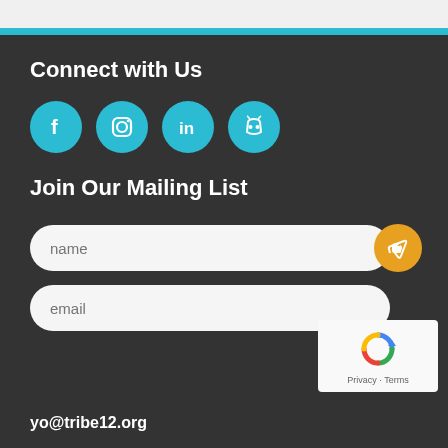Connect with Us
[Figure (infographic): Four teal circular social media icons: Facebook (f), Instagram (camera/circle), LinkedIn (in), Discord (gamepad headset)]
Join Our Mailing List
name (input field)
email (input field)
[Figure (screenshot): Google reCAPTCHA widget showing rotating arrows logo and Privacy - Terms text]
yo@tribe12.org